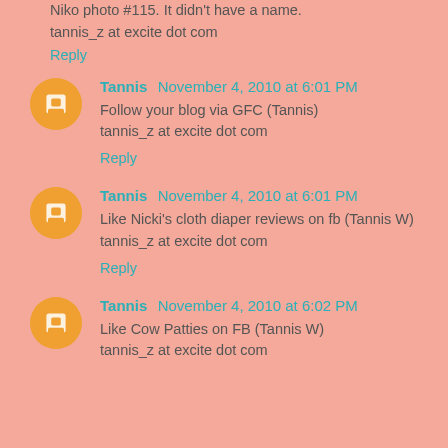Niko photo #115. It didn't have a name.
tannis_z at excite dot com
Reply
Tannis  November 4, 2010 at 6:01 PM
Follow your blog via GFC (Tannis)
tannis_z at excite dot com
Reply
Tannis  November 4, 2010 at 6:01 PM
Like Nicki's cloth diaper reviews on fb (Tannis W)
tannis_z at excite dot com
Reply
Tannis  November 4, 2010 at 6:02 PM
Like Cow Patties on FB (Tannis W)
tannis_z at excite dot com